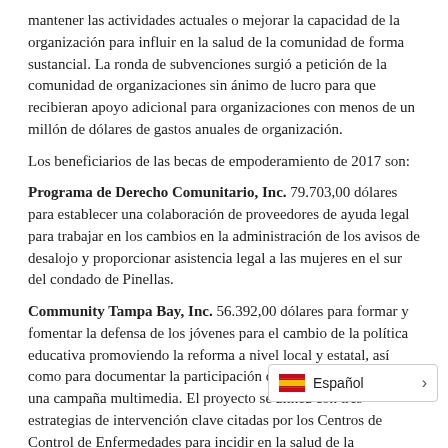mantener las actividades actuales o mejorar la capacidad de la organización para influir en la salud de la comunidad de forma sustancial. La ronda de subvenciones surgió a petición de la comunidad de organizaciones sin ánimo de lucro para que recibieran apoyo adicional para organizaciones con menos de un millón de dólares de gastos anuales de organización.
Los beneficiarios de las becas de empoderamiento de 2017 son:
Programa de Derecho Comunitario, Inc. 79.703,00 dólares para establecer una colaboración de proveedores de ayuda legal para trabajar en los cambios en la administración de los avisos de desalojo y proporcionar asistencia legal a las mujeres en el sur del condado de Pinellas.
Community Tampa Bay, Inc. 56.392,00 dólares para formar y fomentar la defensa de los jóvenes para el cambio de la política educativa promoviendo la reforma a nivel local y estatal, así como para documentar la participación de los jóvenes a través de una campaña multimedia. El proyecto se alinea con tres estrategias de intervención clave citadas por los Centros de Control de Enfermedades para incidir en la salud de la comunidad a través de la mejora de [las condiciones sociales y económicas]s.
Programa Tálitha Rose Fund $81...